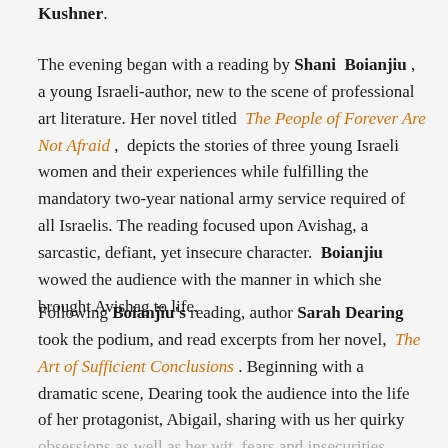Kushner.
The evening began with a reading by Shani Boianjiu , a young Israeli-author, new to the scene of professional art literature. Her novel titled The People of Forever Are Not Afraid , depicts the stories of three young Israeli women and their experiences while fulfilling the mandatory two-year national army service required of all Israelis. The reading focused upon Avishag, a sarcastic, defiant, yet insecure character. Boianjiu wowed the audience with the manner in which she brought Avishag to life.
Following Boianjiu's reading, author Sarah Dearing took the podium, and read excerpts from her novel, The Art of Sufficient Conclusions . Beginning with a dramatic scene, Dearing took the audience into the life of her protagonist, Abigail, sharing with us her quirky obsessions as well as her wit, fears and insecurities.